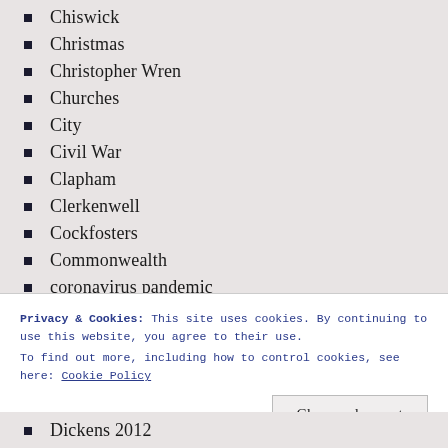Chiswick
Christmas
Christopher Wren
Churches
City
Civil War
Clapham
Clerkenwell
Cockfosters
Commonwealth
coronavirus pandemic
Covent Garden
Croydon
Dagenham
David Garrick
Privacy & Cookies: This site uses cookies. By continuing to use this website, you agree to their use.
To find out more, including how to control cookies, see here: Cookie Policy
Dickens 2012